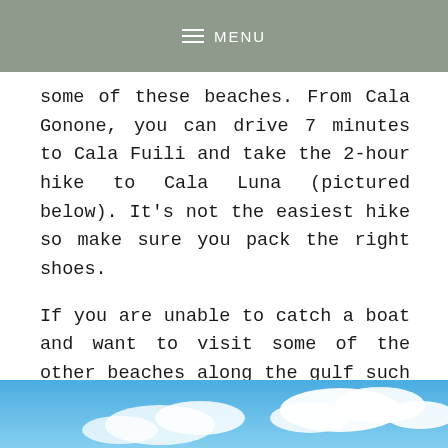MENU
some of these beaches. From Cala Gonone, you can drive 7 minutes to Cala Fuili and take the 2-hour hike to Cala Luna (pictured below). It's not the easiest hike so make sure you pack the right shoes.
If you are unable to catch a boat and want to visit some of the other beaches along the gulf such as Cala Goloritze then you will have to drive to Golgo Plateau in the province of Baunei. This is approximately 1.5 hours from Cala Gonone. The hike from Golgo Plateau to Cala Goloritze will take you another 1.5 hours.
[Figure (photo): Blue sky with white clouds, partial view of a coastal scene]